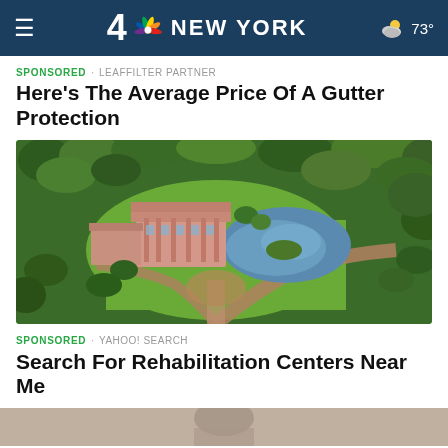4 NBC NEW YORK  73°
SPONSORED · LEAFFILTER PARTNER
Here's The Average Price Of A Gutter Protection
[Figure (photo): Aerial photograph of a large pink classical building surrounded by extensive green parkland with a pond/lake, winding paths, and dense tree coverage.]
SPONSORED · YAHOO! SEARCH
Search For Rehabilitation Centers Near Me
[Figure (photo): Partial view of a person, cropped at bottom of page.]